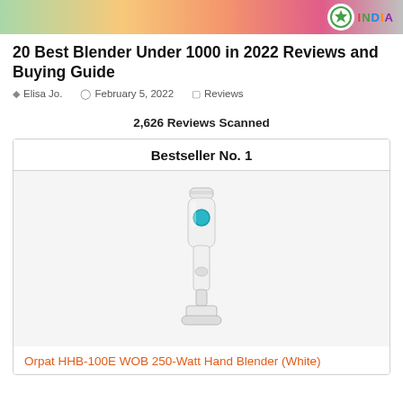[Figure (logo): Colorful gradient banner header with India logo/badge and colored INDIA text in top right corner]
20 Best Blender Under 1000 in 2022 Reviews and Buying Guide
Elisa Jo.  February 5, 2022  Reviews
2,626 Reviews Scanned
Bestseller No. 1
[Figure (photo): White Orpat HHB-100E WOB 250-Watt Hand Blender with teal button, shown on light gray background]
Orpat HHB-100E WOB 250-Watt Hand Blender (White)